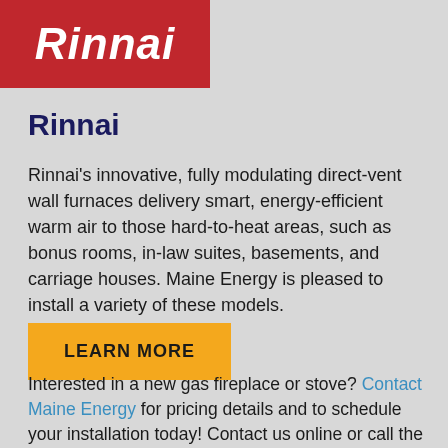[Figure (logo): Rinnai logo — white italic bold text on red background]
Rinnai
Rinnai's innovative, fully modulating direct-vent wall furnaces delivery smart, energy-efficient warm air to those hard-to-heat areas, such as bonus rooms, in-law suites, basements, and carriage houses. Maine Energy is pleased to install a variety of these models.
LEARN MORE
Interested in a new gas fireplace or stove? Contact Maine Energy for pricing details and to schedule your installation today! Contact us online or call the closest Maine Energy location near you. Bangor (207) 947-4525 or Northport